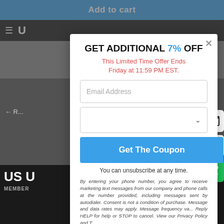Add to cart
GET ADDITIONAL 7% OFF
This Limited Time Offer Ends Friday at 11:59 PM EST.
Email Address
(dropdown selector)
Get The Coupon
You can unsubscribe at any time.
By entering your phone number, you agree to receive marketing text messages from our company and phone calls at the number provided, including messages sent by autodialer. Consent is not a condition of purchase. Message and data rates may apply. Message frequency va... Reply HELP for help or STOP to cancel. View our Privacy Policy and T...